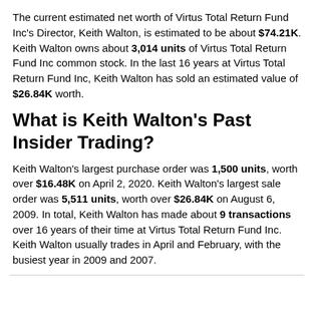The current estimated net worth of Virtus Total Return Fund Inc's Director, Keith Walton, is estimated to be about $74.21K. Keith Walton owns about 3,014 units of Virtus Total Return Fund Inc common stock. In the last 16 years at Virtus Total Return Fund Inc, Keith Walton has sold an estimated value of $26.84K worth.
What is Keith Walton's Past Insider Trading?
Keith Walton's largest purchase order was 1,500 units, worth over $16.48K on April 2, 2020. Keith Walton's largest sale order was 5,511 units, worth over $26.84K on August 6, 2009. In total, Keith Walton has made about 9 transactions over 16 years of their time at Virtus Total Return Fund Inc. Keith Walton usually trades in April and February, with the busiest year in 2009 and 2007.